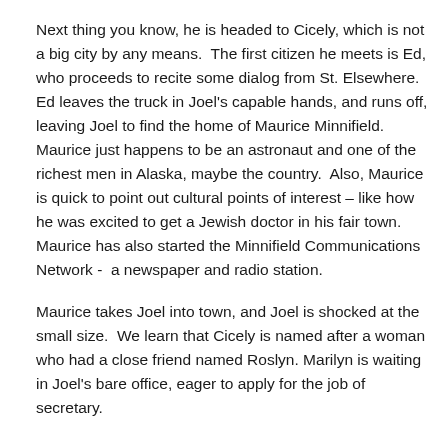Next thing you know, he is headed to Cicely, which is not a big city by any means.  The first citizen he meets is Ed, who proceeds to recite some dialog from St. Elsewhere.  Ed leaves the truck in Joel's capable hands, and runs off, leaving Joel to find the home of Maurice Minnifield.  Maurice just happens to be an astronaut and one of the richest men in Alaska, maybe the country.  Also, Maurice is quick to point out cultural points of interest – like how he was excited to get a Jewish doctor in his fair town.  Maurice has also started the Minnifield Communications Network -  a newspaper and radio station.
Maurice takes Joel into town, and Joel is shocked at the small size.  We learn that Cicely is named after a woman who had a close friend named Roslyn. Marilyn is waiting in Joel's bare office, eager to apply for the job of secretary.